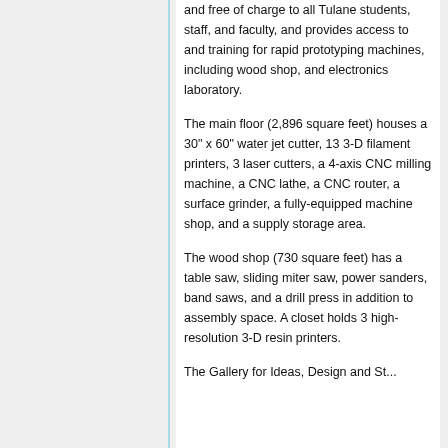and free of charge to all Tulane students, staff, and faculty, and provides access to and training for rapid prototyping machines, including wood shop, and electronics laboratory.
The main floor (2,896 square feet) houses a 30" x 60" water jet cutter, 13 3-D filament printers, 3 laser cutters, a 4-axis CNC milling machine, a CNC lathe, a CNC router, a surface grinder, a fully-equipped machine shop, and a supply storage area.
The wood shop (730 square feet) has a table saw, sliding miter saw, power sanders, band saws, and a drill press in addition to assembly space. A closet holds 3 high-resolution 3-D resin printers.
The Gallery for Ideas, Design and Strategy is on the upper level (300...